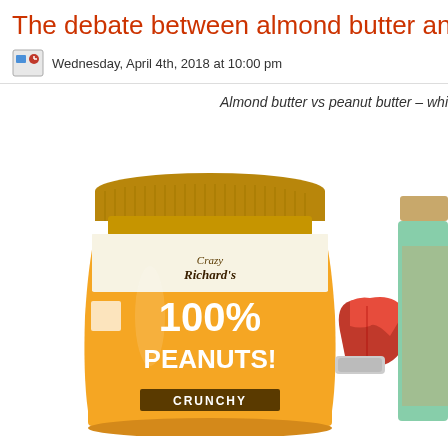The debate between almond butter and pea…
Wednesday, April 4th, 2018 at 10:00 pm
Almond butter vs peanut butter – which do…
[Figure (photo): A jar of Crazy Richard's 100% Peanuts Crunchy peanut butter on the left, boxing gloves in the middle, and a partial view of an almond butter jar on the right.]